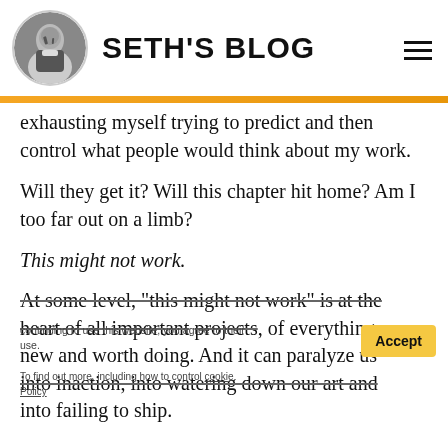SETH'S BLOG
exhausting myself trying to predict and then control what people would think about my work.
Will they get it? Will this chapter hit home? Am I too far out on a limb?
This might not work.
At some level, "this might not work" is at the heart of all important projects, of everything new and worth doing. And it can paralyze us into inaction, into watering down our art and into failing to ship.